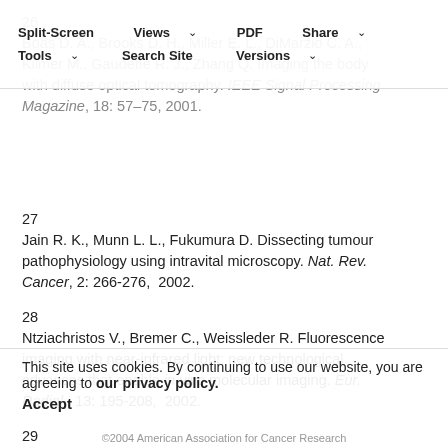Split-Screen | Views | PDF | Share | Tools | Search Site | Versions
26   Boas D. A., Brooks D. H., Miller E. L., DiMarzio C. A., Kilmer M., Gaudette R. J., Zhang Q. Imaging the body with diffuse optical tomography. IEEE Signal Processing Magazine, 18: 57-75, 2001.
27   Jain R. K., Munn L. L., Fukumura D. Dissecting tumour pathophysiology using intravital microscopy. Nat. Rev. Cancer, 2: 266-276, 2002.
28   Ntziachristos V., Bremer C., Weissleder R. Fluorescence imaging with near-infrared light: new technological advances that enable in vivo molecular imaging. Eur. Radiol., 13: 195-208, 2002.
29   Zaheer A., Lenkinski R. E., Mahmood A., Jones A. G., Cantley L. C., Frangioni J. V. In vivo near-infrared fluorescence imaging of bone with an appropriately targeted agent.
This site uses cookies. By continuing to use our website, you are agreeing to our privacy policy. Accept
©2004 American Association for Cancer Research